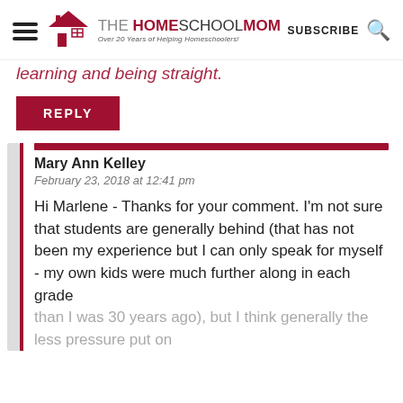THE HOMESCHOOL MOM — Over 20 Years of Helping Homeschoolers! | SUBSCRIBE | Search
...learning and being straight.
REPLY
Mary Ann Kelley
February 23, 2018 at 12:41 pm
Hi Marlene - Thanks for your comment. I'm not sure that students are generally behind (that has not been my experience but I can only speak for myself - my own kids were much further along in each grade than I was 30 years ago), but I think generally the less pressure put on